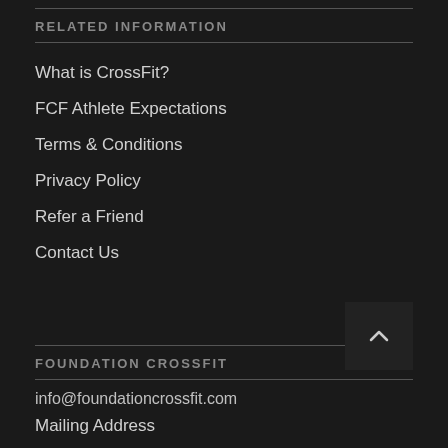RELATED INFORMATION
What is CrossFit?
FCF Athlete Expectations
Terms & Conditions
Privacy Policy
Refer a Friend
Contact Us
FOUNDATION CROSSFIT
info@foundationcrossfit.com
Mailing Address